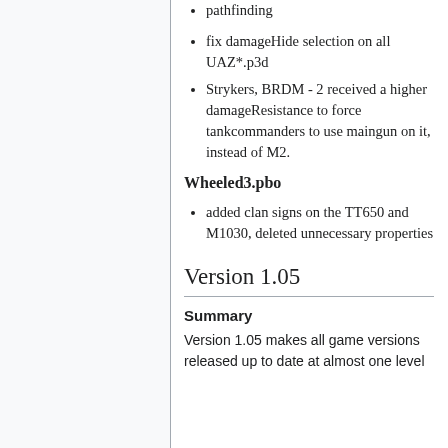pathfinding
fix damageHide selection on all UAZ*.p3d
Strykers, BRDM - 2 received a higher damageResistance to force tankcommanders to use maingun on it, instead of M2.
Wheeled3.pbo
added clan signs on the TT650 and M1030, deleted unnecessary properties
Version 1.05
Summary
Version 1.05 makes all game versions released up to date at almost one level